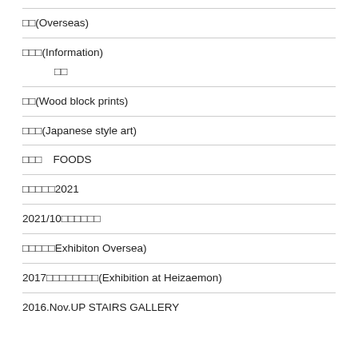□□(Overseas)
□□□(Information)
□□
□□(Wood block prints)
□□□(Japanese style art)
□□□　FOODS
□□□□□2021
2021/10□□□□□□
□□□□□Exhibiton Oversea)
2017□□□□□□□□(Exhibition at Heizaemon)
2016.Nov.UP STAIRS GALLERY